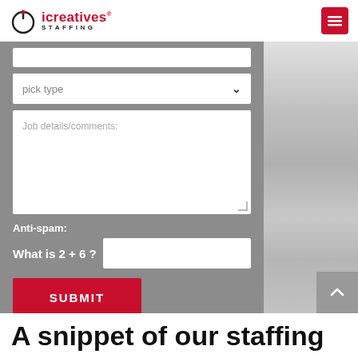[Figure (logo): iCreatives Staffing logo with power icon]
[Figure (other): Red hamburger menu button in top right corner]
[Figure (screenshot): Contact form on gray background showing: partially visible input, pick type dropdown, Job details/comments textarea, Anti-spam field with What is 2 + 6 question, and red SUBMIT button]
[Figure (photo): Blurred grayscale office background photo on right side]
A snippet of our staffing